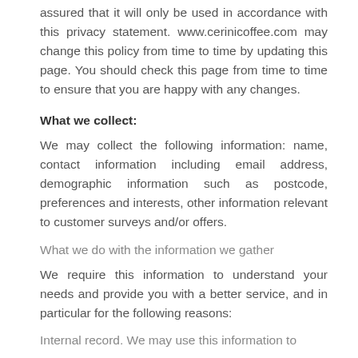assured that it will only be used in accordance with this privacy statement. www.cerinicoffee.com may change this policy from time to time by updating this page. You should check this page from time to time to ensure that you are happy with any changes.
What we collect:
We may collect the following information: name, contact information including email address, demographic information such as postcode, preferences and interests, other information relevant to customer surveys and/or offers.
What we do with the information we gather
We require this information to understand your needs and provide you with a better service, and in particular for the following reasons:
Internal record. We may use this information to